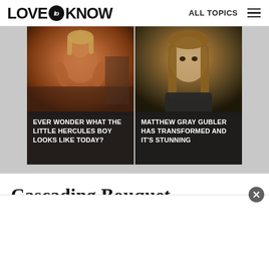LOVE to KNOW  ALL TOPICS
[Figure (photo): Two side-by-side article cards. Left card: muscular shirtless child with long blond hair in a gym. Text overlay: 'EVER WONDER WHAT THE LITTLE HERCULES BOY LOOKS LIKE TODAY?'. Right card: young man with long brown hair. Text overlay: 'MATTHEW GRAY GUBLER HAS TRANSFORMED AND IT'S STUNNING'.]
Cascading Bouquet
[Figure (other): Advertisement overlay at the bottom of the page with a close (×) button in the upper right corner.]